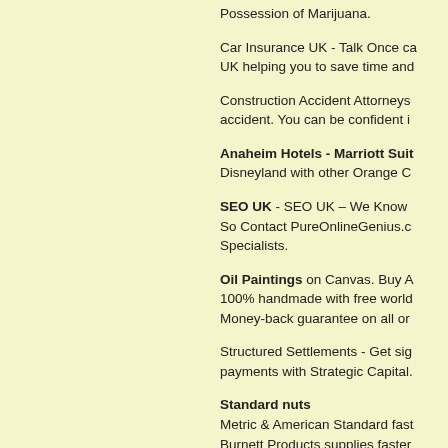Possession of Marijuana.
Car Insurance UK - Talk Once ca... UK helping you to save time and...
Construction Accident Attorneys... accident. You can be confident i...
Anaheim Hotels - Marriott Suit... Disneyland with other Orange C...
SEO UK - SEO UK – We Know... So Contact PureOnlineGenius.c... Specialists.
Oil Paintings on Canvas. Buy A... 100% handmade with free world... Money-back guarantee on all or...
Structured Settlements - Get sig... payments with Strategic Capital.
Standard nuts Metric & American Standard fast... Burnett Products supplies faster... the nation. Our products include... pins.
Tape Dispensers - Our tape disp...